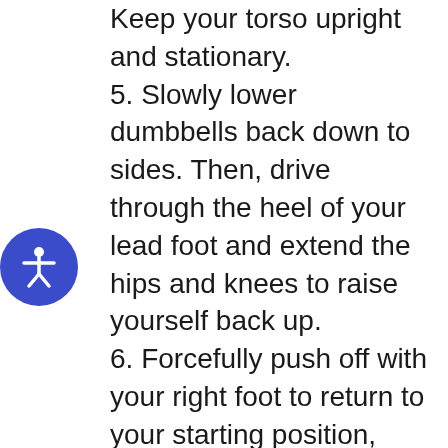Keep your torso upright and stationary.
5. Slowly lower dumbbells back down to sides. Then, drive through the heel of your lead foot and extend the hips and knees to raise yourself back up.
6. Forcefully push off with your right foot to return to your starting position, then repeat with opposite leg.
7. Keep alternating between legs for the prescribed amount of repetitions.
Getting in shape and working out from home isn't nearly as difficult as a lot of